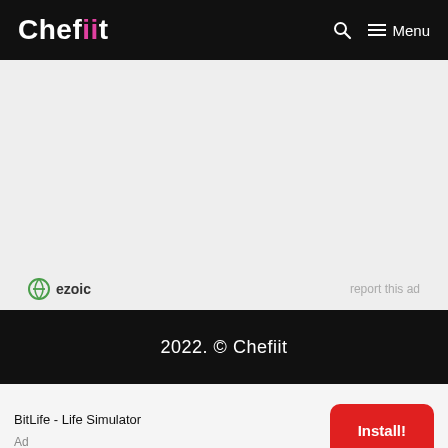Chefiit — Menu
[Figure (other): Gray advertisement placeholder area]
ezoic   report this ad
2022. © Chefiit
BitLife - Life Simulator
Ad
Install!